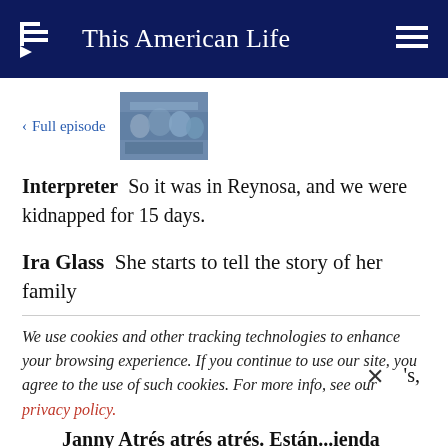This American Life
< Full episode
[Figure (photo): Thumbnail image of a crowded scene, appears to be a marketplace or gathering]
Interpreter  So it was in Reynosa, and we were kidnapped for 15 days.
Ira Glass  She starts to tell the story of her family
We use cookies and other tracking technologies to enhance your browsing experience. If you continue to use our site, you agree to the use of such cookies. For more info, see our privacy policy.
Janny Atrés atrés atrés. Están...ienda